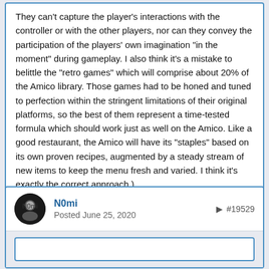They can't capture the player's interactions with the controller or with the other players, nor can they convey the participation of the players' own imagination "in the moment" during gameplay.  I also think it's a mistake to belittle the "retro games" which will comprise about 20% of the Amico library.  Those games had to be honed and tuned to perfection within the stringent limitations of their original platforms, so the best of them represent a time-tested formula which should work just as well on the Amico.  Like a good restaurant, the Amico will have its "staples" based on its own proven recipes, augmented by a steady stream of new items to keep the menu fresh and varied.  I think it's exactly the correct approach.)
❤ 12   🏆 2
N0mi
Posted June 25, 2020   #19529